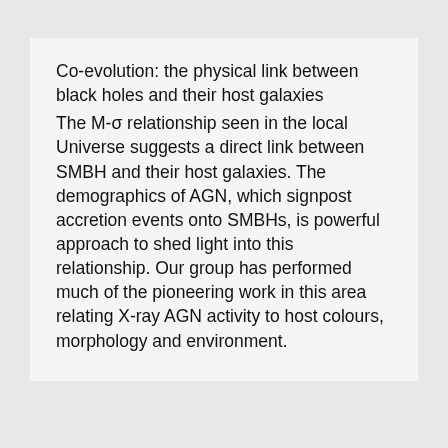Co-evolution: the physical link between black holes and their host galaxies
The M-σ relationship seen in the local Universe suggests a direct link between SMBH and their host galaxies. The demographics of AGN, which signpost accretion events onto SMBHs, is powerful approach to shed light into this relationship. Our group has performed much of the pioneering work in this area relating X-ray AGN activity to host colours, morphology and environment.